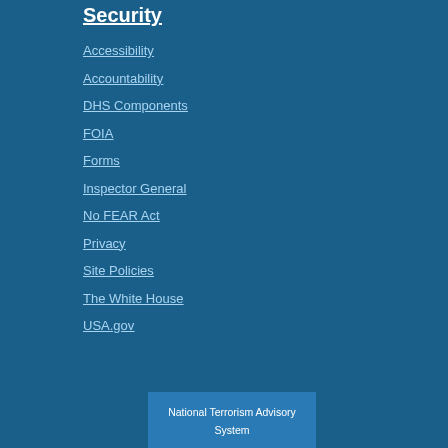Security
Accessibility
Accountability
DHS Components
FOIA
Forms
Inspector General
No FEAR Act
Privacy
Site Policies
The White House
USA.gov
National Terrorism Advisory System